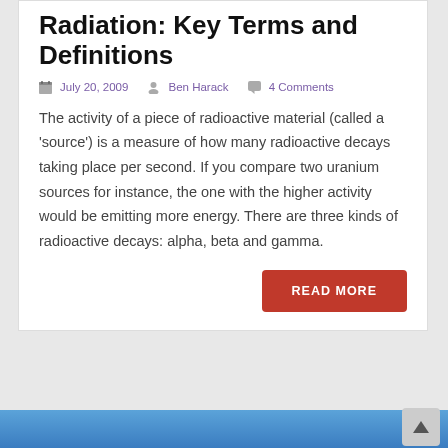Radiation: Key Terms and Definitions
July 20, 2009   Ben Harack   4 Comments
The activity of a piece of radioactive material (called a 'source') is a measure of how many radioactive decays taking place per second. If you compare two uranium sources for instance, the one with the higher activity would be emitting more energy. There are three kinds of radioactive decays: alpha, beta and gamma.
READ MORE